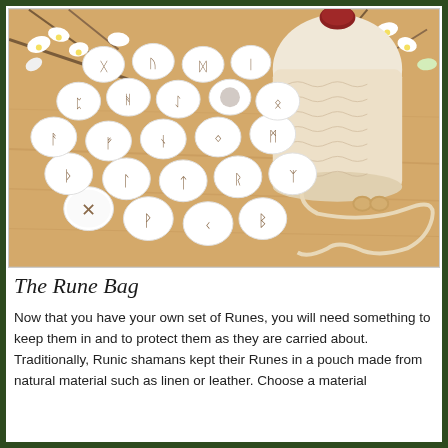[Figure (photo): Photo of white rune stones with runic symbols scattered on a wooden surface next to a cream crocheted drawstring pouch with wooden beads, with white flowers in the background.]
The Rune Bag
Now that you have your own set of Runes, you will need something to keep them in and to protect them as they are carried about. Traditionally, Runic shamans kept their Runes in a pouch made from natural material such as linen or leather. Choose a material